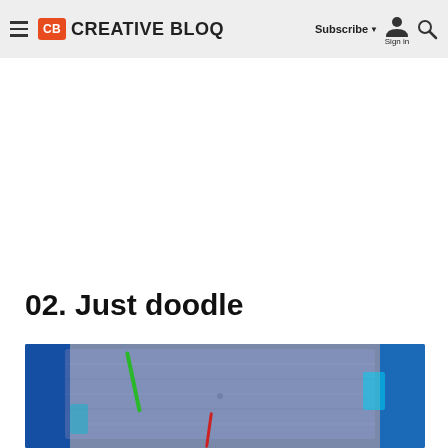Creative Bloq — Subscribe | Sign in
02. Just doodle
[Figure (photo): A person wearing a blue denim shirt holding colorful markers/pens, with a green marker visible, appearing to be doodling. Blue accents visible on the sides.]